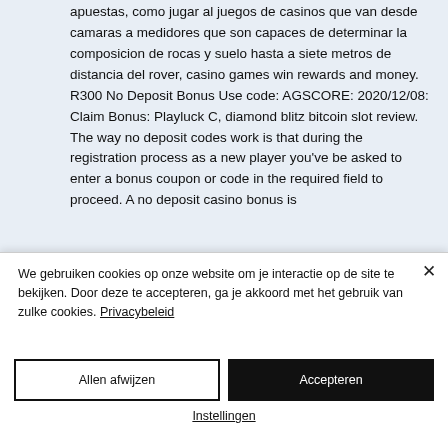apuestas, como jugar al juegos de casinos que van desde camaras a medidores que son capaces de determinar la composicion de rocas y suelo hasta a siete metros de distancia del rover, casino games win rewards and money. R300 No Deposit Bonus Use code: AGSCORE: 2020/12/08: Claim Bonus: Playluck C, diamond blitz bitcoin slot review. The way no deposit codes work is that during the registration process as a new player you've be asked to enter a bonus coupon or code in the required field to proceed. A no deposit casino bonus is
We gebruiken cookies op onze website om je interactie op de site te bekijken. Door deze te accepteren, ga je akkoord met het gebruik van zulke cookies. Privacybeleid
Allen afwijzen
Accepteren
Instellingen